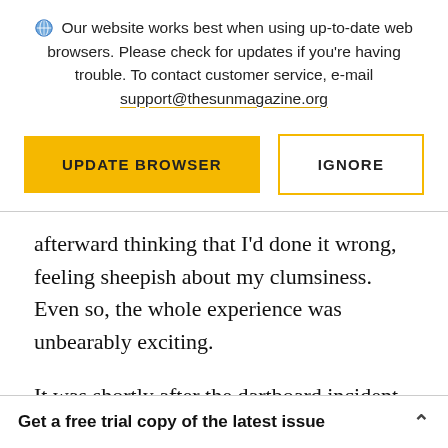Our website works best when using up-to-date web browsers. Please check for updates if you're having trouble. To contact customer service, e-mail support@thesunmagazine.org
[Figure (other): Two buttons: a yellow filled 'UPDATE BROWSER' button and a yellow-outlined 'IGNORE' button]
afterward thinking that I'd done it wrong, feeling sheepish about my clumsiness. Even so, the whole experience was unbearably exciting.
It was shortly after the dartboard incident that
Get a free trial copy of the latest issue